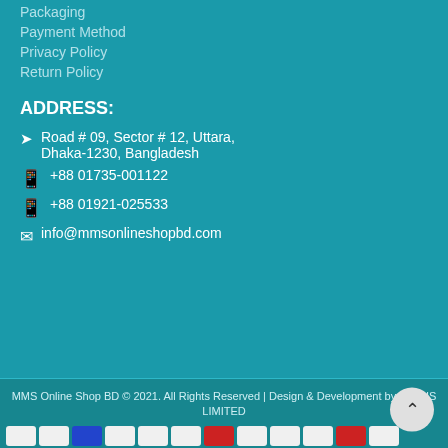Packaging
Payment Method
Privacy Policy
Return Policy
ADDRESS:
Road # 09, Sector # 12, Uttara, Dhaka-1230, Bangladesh
+88 01735-001122
+88 01921-025533
info@mmsonlineshopbd.com
MMS Online Shop BD © 2021. All Rights Reserved | Design & Development by TECHS LIMITED